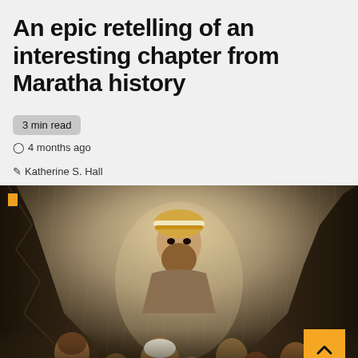An epic retelling of an interesting chapter from Maratha history
3 min read
4 months ago  Katherine S. Hall
[Figure (photo): Movie poster for a Maratha history film showing a warrior figure with a turban in the upper center, surrounded by other characters in a dramatic rainy battle scene. An orange scroll-to-top button with a chevron is overlaid in the bottom right.]